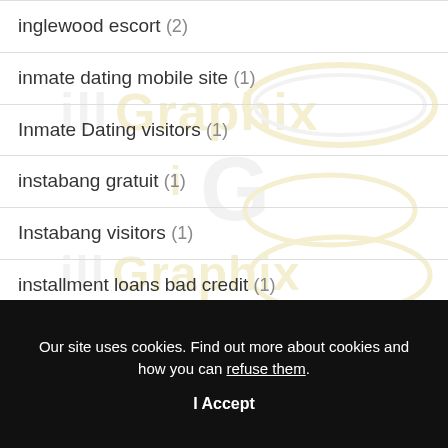inglewood escort (2)
inmate dating mobile site (1)
Inmate Dating visitors (1)
instabang gratuit (1)
Instabang visitors (1)
installment loans bad credit (1)
Our site uses cookies. Find out more about cookies and how you can refuse them.
I Accept